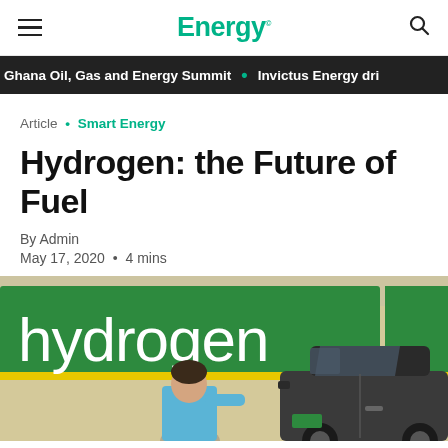Energy.
Ghana Oil, Gas and Energy Summit • Invictus Energy dri
Article • Smart Energy
Hydrogen: the Future of Fuel
By Admin
May 17, 2020 • 4 mins
[Figure (photo): A hydrogen fuel station sign reading 'hydrogen' in white text on a green background, with a person in a blue top refueling a car in the foreground.]